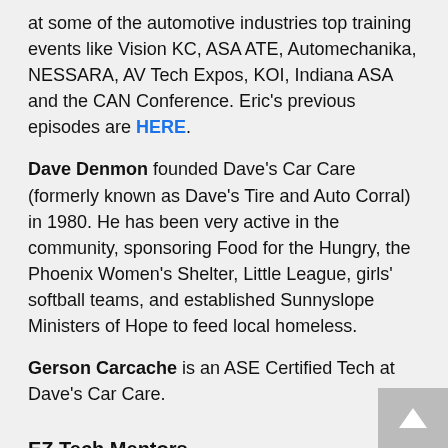at some of the automotive industries top training events like Vision KC, ASA ATE, Automechanika, NESSARA, AV Tech Expos, KOI, Indiana ASA and the CAN Conference. Eric's previous episodes are HERE.
Dave Denmon founded Dave's Car Care (formerly known as Dave's Tire and Auto Corral) in 1980. He has been very active in the community, sponsoring Food for the Hungry, the Phoenix Women's Shelter, Little League, girls' softball teams, and established Sunnyslope Ministers of Hope to feed local homeless.
Gerson Carcache is an ASE Certified Tech at Dave's Car Care.
EZ Tech Mentors
We would like to assist shops in developing exceptional technicians, improving shop culture,